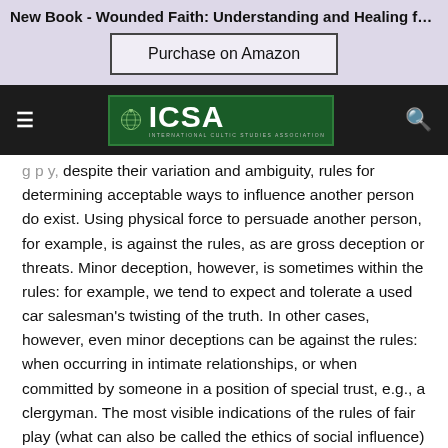New Book - Wounded Faith: Understanding and Healing from Spi...
[Figure (screenshot): Purchase on Amazon button on lavender background]
[Figure (logo): ICSA International Cultic Studies Association navigation bar with hamburger menu and search icon]
despite their variation and ambiguity, rules for determining acceptable ways to influence another person do exist. Using physical force to persuade another person, for example, is against the rules, as are gross deception or threats. Minor deception, however, is sometimes within the rules: for example, we tend to expect and tolerate a used car salesman's twisting of the truth. In other cases, however, even minor deceptions can be against the rules: when occurring in intimate relationships, or when committed by someone in a position of special trust, e.g., a clergyman. The most visible indications of the rules of fair play (what can also be called the ethics of social influence)